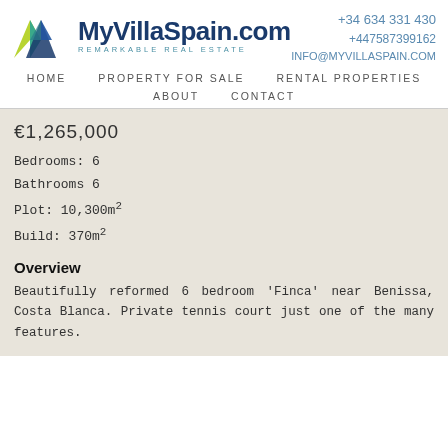MyVillaSpain.com REMARKABLE REAL ESTATE +34 634 331 430 +447587399162 INFO@MYVILLASPAIN.COM
HOME   PROPERTY FOR SALE   RENTAL PROPERTIES   ABOUT   CONTACT
€1,265,000
Bedrooms: 6
Bathrooms 6
Plot: 10,300m²
Build: 370m²
Overview
Beautifully reformed 6 bedroom 'Finca' near Benissa, Costa Blanca. Private tennis court just one of the many features.